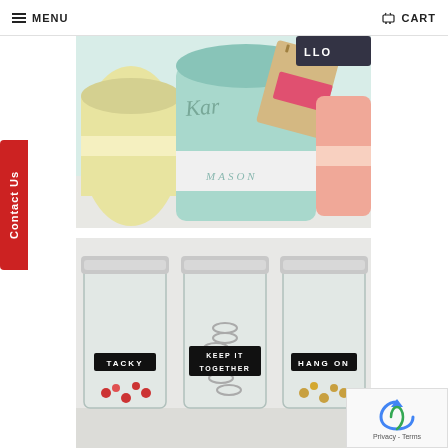MENU    CART
[Figure (photo): Close-up of painted mason jars in mint green and yellow pastel colors on a white wooden surface. The main jar reads 'Mason' and has a decorative kraft paper tag with a pink chevron pattern and a chalkboard label saying 'LLO'. A coral/peach colored jar is visible on the right.]
[Figure (photo): Three clear glass mason jars with silver lids arranged side by side on a light surface. Each jar has a black label: left jar reads 'TACKY' and contains colorful push pins, middle jar reads 'KEEP IT TOGETHER' and contains paper clips, right jar reads 'HANG ON' and contains brass/gold push pins or brads.]